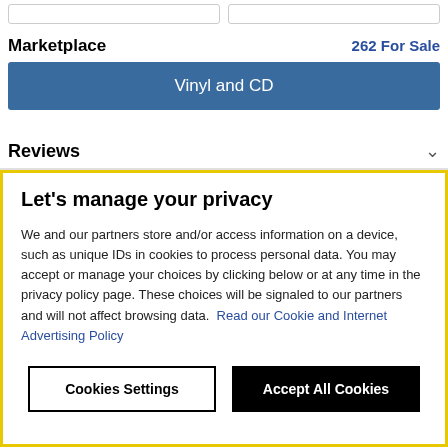[Figure (screenshot): Two empty input boxes side by side at the top of the page]
Marketplace
262 For Sale
[Figure (screenshot): Blue button labeled 'Vinyl and CD']
Reviews
Let's manage your privacy
We and our partners store and/or access information on a device, such as unique IDs in cookies to process personal data. You may accept or manage your choices by clicking below or at any time in the privacy policy page. These choices will be signaled to our partners and will not affect browsing data. Read our Cookie and Internet Advertising Policy
Cookies Settings
Accept All Cookies